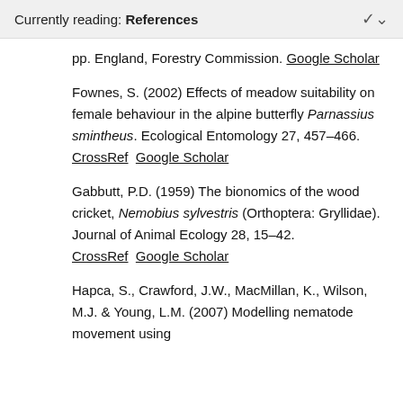Currently reading: References
pp. England, Forestry Commission. Google Scholar
Fownes, S. (2002) Effects of meadow suitability on female behaviour in the alpine butterfly Parnassius smintheus. Ecological Entomology 27, 457–466. CrossRef  Google Scholar
Gabbutt, P.D. (1959) The bionomics of the wood cricket, Nemobius sylvestris (Orthoptera: Gryllidae). Journal of Animal Ecology 28, 15–42. CrossRef  Google Scholar
Hapca, S., Crawford, J.W., MacMillan, K., Wilson, M.J. & Young, L.M. (2007) Modelling nematode movement using…